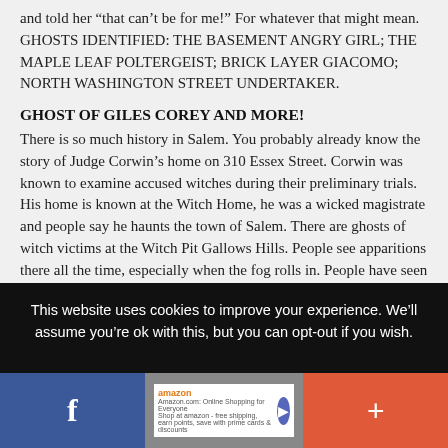and told her “that can’t be for me!” For whatever that might mean. GHOSTS IDENTIFIED: THE BASEMENT ANGRY GIRL; THE MAPLE LEAF POLTERGEIST; BRICK LAYER GIACOMO; NORTH WASHINGTON STREET UNDERTAKER.
GHOST OF GILES COREY AND MORE!
There is so much history in Salem. You probably already know the story of Judge Corwin’s home on 310 Essex Street. Corwin was known to examine accused witches during their preliminary trials. His home is known at the Witch Home, he was a wicked magistrate and people say he haunts the town of Salem. There are ghosts of witch victims at the Witch Pit Gallows Hills. People see apparitions there all the time, especially when the fog rolls in. People have seen shadowy movement at the
This website uses cookies to improve your experience. We’ll assume you’re ok with this, but you can opt-out if you wish.